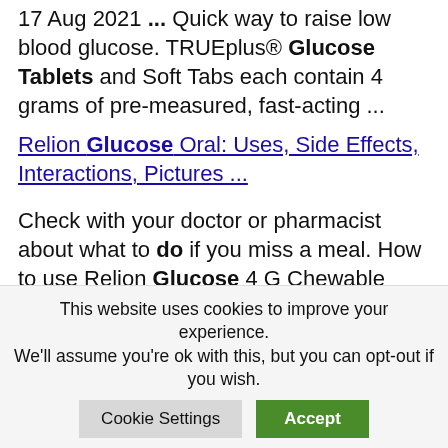17 Aug 2021 ... Quick way to raise low blood glucose. TRUEplus® Glucose Tablets and Soft Tabs each contain 4 grams of pre-measured, fast-acting ...
Relion Glucose Oral: Uses, Side Effects, Interactions, Pictures ...
Check with your doctor or pharmacist about what to do if you miss a meal. How to use Relion Glucose 4 G Chewable Tablet. Read and follow all directions on the ...
This website uses cookies to improve your experience. We'll assume you're ok with this, but you can opt-out if you wish. Cookie Settings Accept